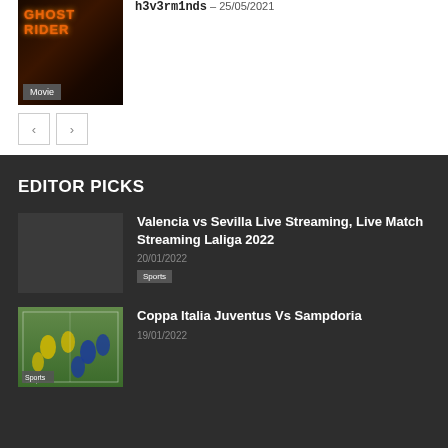[Figure (photo): Ghost Rider movie poster thumbnail with dark fiery background and orange text]
Movie
h3v3rm1nds – 25/05/2021
< >
EDITOR PICKS
[Figure (photo): Dark placeholder thumbnail for Valencia vs Sevilla article]
Valencia vs Sevilla Live Streaming, Live Match Streaming Laliga 2022
20/01/2022
Sports
[Figure (photo): Soccer match photo showing players in yellow and blue jerseys on field, Coppa Italia Juventus vs Sampdoria]
Coppa Italia Juventus Vs Sampdoria
19/01/2022
Sports